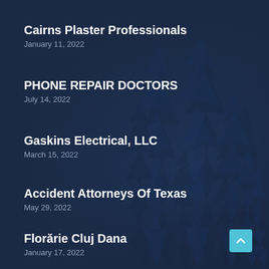Cairns Plaster Professionals
January 11, 2022
PHONE REPAIR DOCTORS
July 14, 2022
Gaskins Electrical, LLC
March 15, 2022
Accident Attorneys Of Texas
May 29, 2022
Florărie Cluj Dana
January 17, 2022